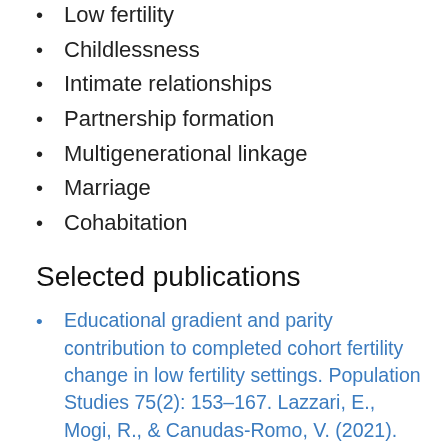Low fertility
Childlessness
Intimate relationships
Partnership formation
Multigenerational linkage
Marriage
Cohabitation
Selected publications
Educational gradient and parity contribution to completed cohort fertility change in low fertility settings. Population Studies 75(2): 153–167. Lazzari, E., Mogi, R., & Canudas-Romo, V. (2021).